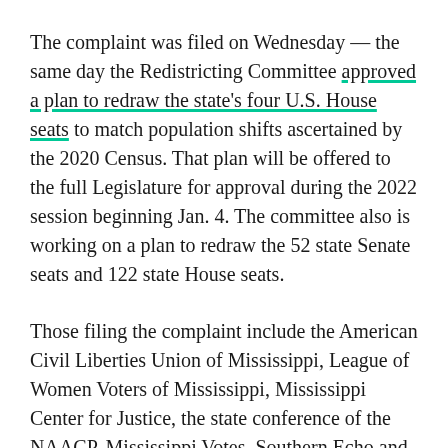The complaint was filed on Wednesday — the same day the Redistricting Committee approved a plan to redraw the state's four U.S. House seats to match population shifts ascertained by the 2020 Census. That plan will be offered to the full Legislature for approval during the 2022 session beginning Jan. 4. The committee also is working on a plan to redraw the 52 state Senate seats and 122 state House seats.
Those filing the complaint include the American Civil Liberties Union of Mississippi, League of Women Voters of Mississippi, Mississippi Center for Justice, the state conference of the NAACP, Mississippi Votes, Southern Echo and Southern Poverty Law Center.
The complaint said the bulk of the work of the committee has taken place behind closed doors, including the drawing of the congressional redistricting plan approved